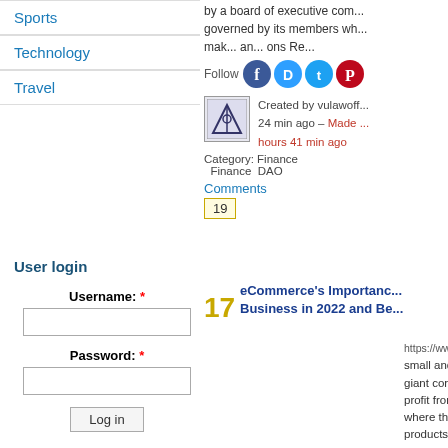Sports
Technology
Travel
by a board of executive com... governed by its members wh... mak... an... ons Re...
Follow
[Figure (infographic): Social media icons: Facebook, Disqus, Twitter, Pinterest]
Created by vulawoff... 24 min ago – Made ... hours 41 min ago
Category: Finance Finance DAO
Comments
19
User login
Username: *
Password: *
Log in
17
eCommerce's Importanc... Business in 2022 and Be...
https://www.bloggonline.com – Fr... small and medium-sized bus... giant corporations, many bus... profit from having their own c... where they can sell their own... products/services. Simultane... quick adoption of the latest t...